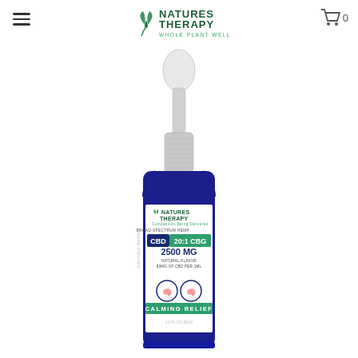[Figure (logo): Natures Therapy Whole Plant Wellness logo with green leaf icon and teal/green text]
[Figure (photo): A blue dropper bottle of Natures Therapy Broad Spectrum Hemp CBD 20:1 CBG 2500 MG Natural Flavor oil, with white dropper cap, showing label with CALMING RELIEF icons and 1.0 FL OZ (30ml)]